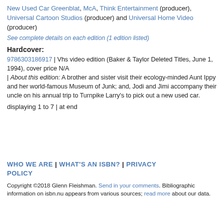New Used Car Greenblat, McA, Think Entertainment (producer), Universal Cartoon Studios (producer) and Universal Home Video (producer)
See complete details on each edition (1 edition listed)
Hardcover:
9786303186917 | Vhs video edition (Baker & Taylor Deleted Titles, June 1, 1994), cover price N/A | About this edition: A brother and sister visit their ecology-minded Aunt Ippy and her world-famous Museum of Junk; and, Jodi and Jimi accompany their uncle on his annual trip to Turnpike Larry's to pick out a new used car.
displaying 1 to 7 | at end
WHO WE ARE | WHAT'S AN ISBN? | PRIVACY POLICY
Copyright ©2018 Glenn Fleishman. Send in your comments. Bibliographic information on isbn.nu appears from various sources; read more about our data.